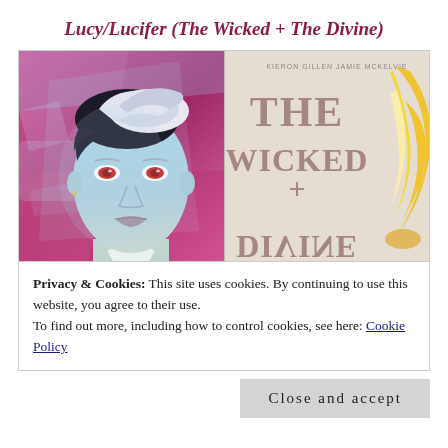Lucy/Lucifer (The Wicked + The Divine)
[Figure (illustration): Two side-by-side images: left shows a stylized comic-art portrait of a pale blue-skinned androgynous figure with red eyes and slicked hair against a pink/magenta background; right shows the cover of 'The Wicked + The Divine' book with large text and a flame illustration, partially mirrored/flipped.]
Privacy & Cookies: This site uses cookies. By continuing to use this website, you agree to their use.
To find out more, including how to control cookies, see here: Cookie Policy
Close and accept